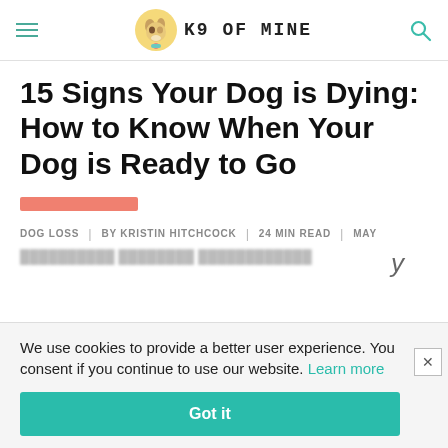K9 OF MINE
15 Signs Your Dog is Dying: How to Know When Your Dog is Ready to Go
DOG LOSS | BY KRISTIN HITCHCOCK | 24 MIN READ | MAY
We use cookies to provide a better user experience. You consent if you continue to use our website. Learn more
Got it